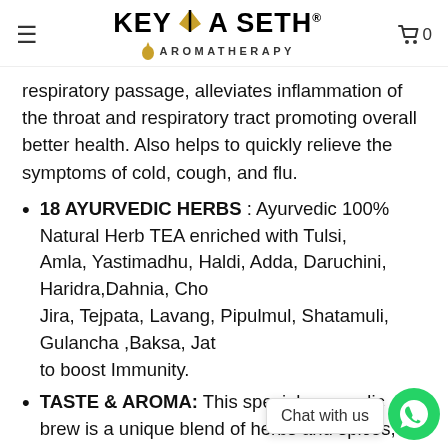KEYA SETH AROMATHERAPY
respiratory passage, alleviates inflammation of the throat and respiratory tract promoting overall better health. Also helps to quickly relieve the symptoms of cold, cough, and flu.
18 AYURVEDIC HERBS : Ayurvedic 100% Natural Herb TEA enriched with Tulsi, Amla, Yastimadhu, Haldi, Adda, Daruchini, Haridra,Dahnia, Cho Jira, Tejpata, Lavang, Pipulmul, Shatamuli, Gulancha ,Baksa, Jat to boost Immunity.
TASTE & AROMA: This special ayurvedic brew is a unique blend of herbs and spices, which gives it a rich aroma and a perfectly balanced flavour with sweet and spicy notes.
TREATMENT REGIMEN: Take 1 cup water (200ml),